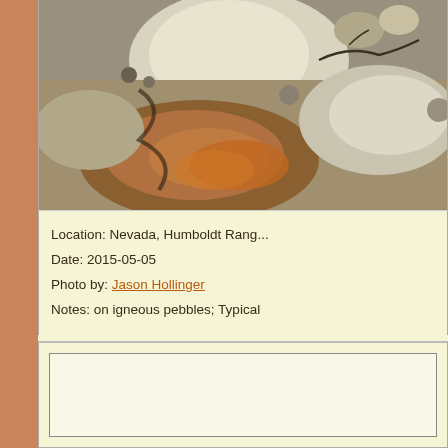[Figure (photo): Close-up photograph of igneous pebbles/rocks on ground, showing various gray, white, and rust-colored stones with sandy debris.]
Location: Nevada, Humboldt Range
Date: 2015-05-05
Photo by: Jason Hollinger
Notes: on igneous pebbles; Typical